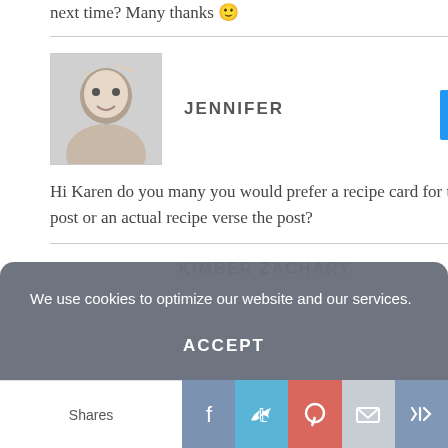next time? Many thanks 🙂
JENNIFER
[Figure (photo): Avatar photo of Jennifer, a woman with blonde hair smiling]
Hi Karen do you many you would prefer a recipe card for this post or an actual recipe verse the post?
KIMBER ZACHARY
We use cookies to optimize our website and our services.
ACCEPT
Shares